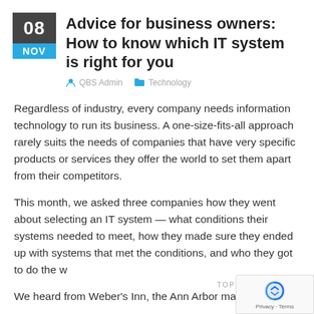Advice for business owners: How to know which IT system is right for you
QBS Admin   Technology
Regardless of industry, every company needs information technology to run its business. A one-size-fits-all approach rarely suits the needs of companies that have very specific products or services they offer the world to set them apart from their competitors.
This month, we asked three companies how they went about selecting an IT system — what conditions their systems needed to meet, how they made sure they ended up with systems that met the conditions, and who they got to do the w
We heard from Weber's Inn, the Ann Arbor mainstay